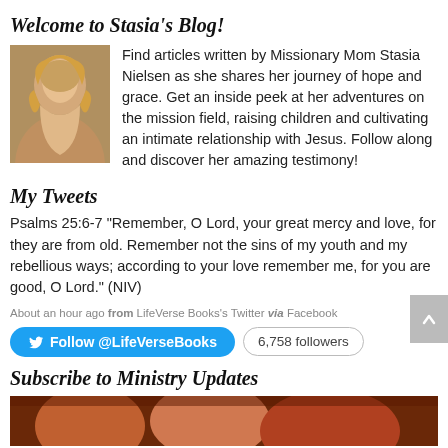Welcome to Stasia's Blog!
[Figure (photo): Photo of Stasia Nielsen, a blonde woman]
Find articles written by Missionary Mom Stasia Nielsen as she shares her journey of hope and grace. Get an inside peek at her adventures on the mission field, raising children and cultivating an intimate relationship with Jesus. Follow along and discover her amazing testimony!
My Tweets
Psalms 25:6-7 "Remember, O Lord, your great mercy and love, for they are from old. Remember not the sins of my youth and my rebellious ways; according to your love remember me, for you are good, O Lord." (NIV)
About an hour ago from LifeVerse Books's Twitter via Facebook
Follow @LifeVerseBooks  6,758 followers
Subscribe to Ministry Updates
[Figure (photo): Partial image at bottom of page]